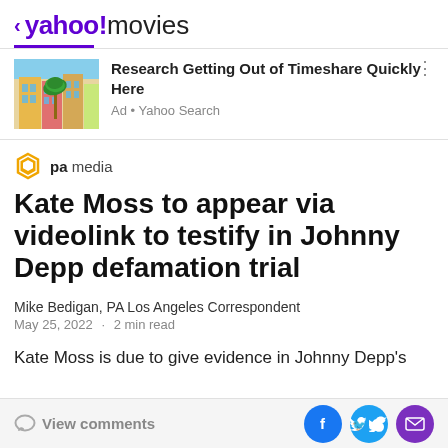< yahoo!movies
[Figure (screenshot): Advertisement: colorful Mediterranean-style buildings with palm tree]
Research Getting Out of Timeshare Quickly Here
Ad • Yahoo Search
[Figure (logo): PA Media hexagon logo in orange/gold]
pa media
Kate Moss to appear via videolink to testify in Johnny Depp defamation trial
Mike Bedigan, PA Los Angeles Correspondent
May 25, 2022 · 2 min read
Kate Moss is due to give evidence in Johnny Depp's
View comments